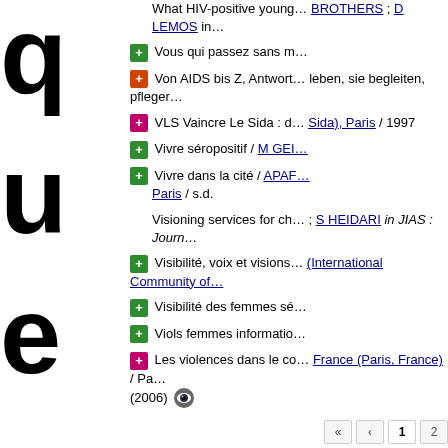q
u
e
What HIV-positive young… BROTHERS ; D LEMOS in…
Vous qui passez sans m…
Von AIDS bis Z, Antwort… leben, sie begleiten, pfleger…
VLS Vaincre Le Sida : d… Sida), Paris / 1997
Vivre séropositif / M GEI…
Vivre dans la cité / APAF… Paris / s.d.
Visioning services for ch… ; S HEIDARI in JIAS : Journ…
Visibilité, voix et visions… (International Community of…
Visibilité des femmes sé…
Viols femmes informatio…
Les violences dans le co… France (Paris, France) / Pa… (2006)
« « 1 2